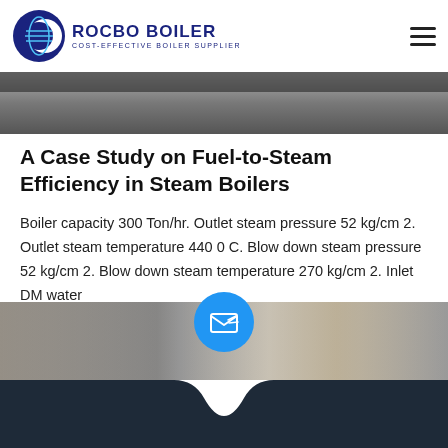ROCBO BOILER — COST-EFFECTIVE BOILER SUPPLIER
[Figure (photo): Top partial photo of boiler equipment, dark/grey tones, cropped top portion visible]
A Case Study on Fuel-to-Steam Efficiency in Steam Boilers
Boiler capacity 300 Ton/hr. Outlet steam pressure 52 kg/cm 2. Outlet steam temperature 440 0 C. Blow down steam pressure 52 kg/cm 2. Blow down steam temperature 270 kg/cm 2. Inlet DM water
Get Price
[Figure (photo): Bottom partial photo of boiler/industrial equipment interior, showing metal tubes/pipes]
Send Message | Inquiry Online